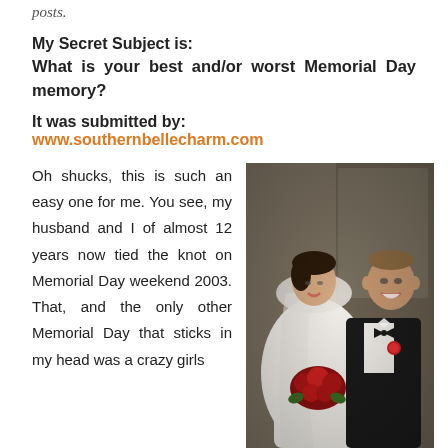posts.
My Secret Subject is:
What is your best and/or worst Memorial Day memory?
It was submitted by: www.southernbellecharm.com
Oh shucks, this is such an easy one for me. You see, my husband and I of almost 12 years now tied the knot on Memorial Day weekend 2003. That, and the only other Memorial Day that sticks in my head was a crazy girls
[Figure (photo): Wedding photo of a bride in white dress and veil holding red roses bouquet, and groom in black tuxedo with red boutonniere, smiling together]